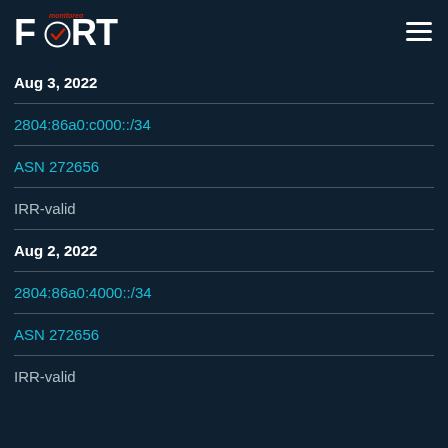FORT monitoreo
Aug 3, 2022
2804:86a0:c000::/34
ASN 272656
IRR-valid
Aug 2, 2022
2804:86a0:4000::/34
ASN 272656
IRR-valid